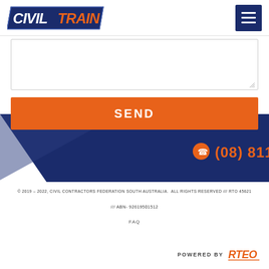[Figure (logo): Civil Train logo — 'CIVIL' in bold white italic on dark navy background, 'TRAIN' in bold orange italic, inside a navy bordered parallelogram shape]
[Figure (other): Hamburger menu icon — three white horizontal lines on dark navy square background]
[Figure (other): Text area input box — white rectangle with grey border and resize handle]
[Figure (other): SEND button — orange rectangle with white bold uppercase text 'SEND']
[Figure (infographic): Dark navy diagonal geometric background with phone icon and phone number (08) 8111 8001 in orange]
© 2019 – 2022, CIVIL CONTRACTORS FEDERATION SOUTH AUSTRALIA.  ALL RIGHTS RESERVED /// RTO 45621
/// ABN- 92619501512
FAQ
POWERED BY RTEO